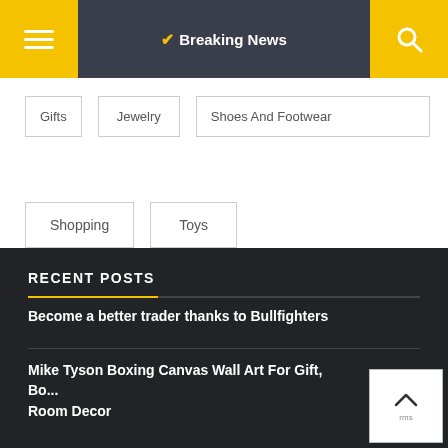Breaking News
Gifts
Jewelry
Shoes And Footwear
Shopping
Toys
RECENT POSTS
Become a better trader thanks to Bullfighters
Mike Tyson Boxing Canvas Wall Art For Gift, Bo... Room Decor